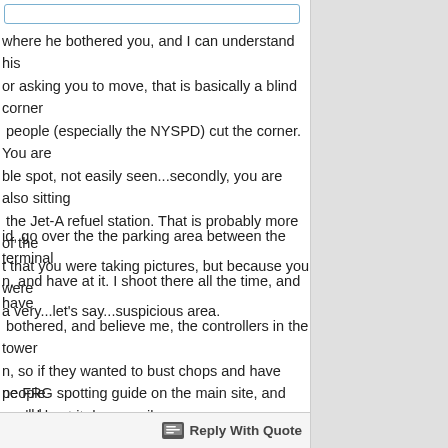where he bothered you, and I can understand his or asking you to move, that is basically a blind corner people (especially the NYSPD) cut the corner. You are ble spot, not easily seen...secondly, you are also sitting the Jet-A refuel station. That is probably more of the t that you were taking pictures, but because you were a very...let's say...suspicious area.
id, go over the the parking area between the terminal n, and have at it. I shoot there all the time, and have bothered, and believe me, the controllers in the tower n, so if they wanted to bust chops and have people y could get it done easily.
ne FRG spotting guide on the main site, and you'll have And DONT stop shooting! Remember if those planes are y have to taxi and takeoff somewhere. :)
otos:
klosphotography.com/
lickr.com/photos/johnklos
Reply With Quote